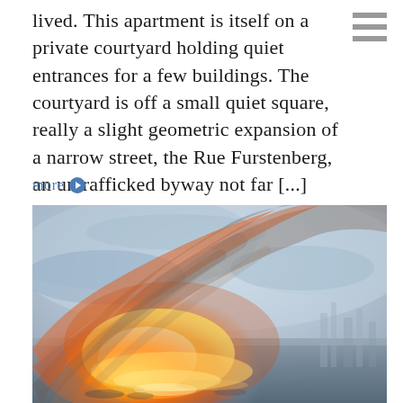lived. This apartment is itself on a private courtyard holding quiet entrances for a few buildings. The courtyard is off a small quiet square, really a slight geometric expansion of a narrow street, the Rue Furstenberg, an untrafficked byway not far [...]
more ›
[Figure (illustration): A painting depicting a dramatic sunset or fire scene over water, with vivid orange, yellow, and golden flames or light in the lower center, soft blue-grey sky and atmospheric haze, with faint architectural silhouettes on the right. Style reminiscent of J.M.W. Turner.]